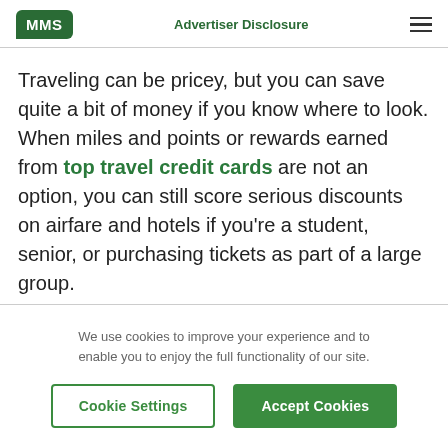MMS | Advertiser Disclosure
Traveling can be pricey, but you can save quite a bit of money if you know where to look. When miles and points or rewards earned from top travel credit cards are not an option, you can still score serious discounts on airfare and hotels if you're a student, senior, or purchasing tickets as part of a large group.
Discounts are also available for members of the
We use cookies to improve your experience and to enable you to enjoy the full functionality of our site.
Cookie Settings | Accept Cookies